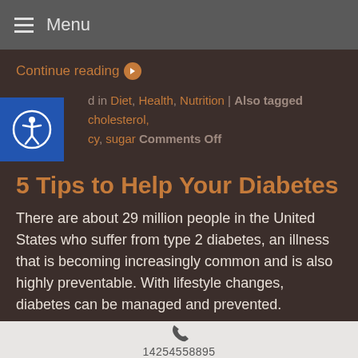Menu
Continue reading
d in Diet, Health, Nutrition | Also tagged cholesterol, cy, sugar Comments Off
5 Tips to Help Your Diabetes
There are about 29 million people in the United States who suffer from type 2 diabetes, an illness that is becoming increasingly common and is also highly preventable. With lifestyle changes, diabetes can be managed and prevented.
14254558895